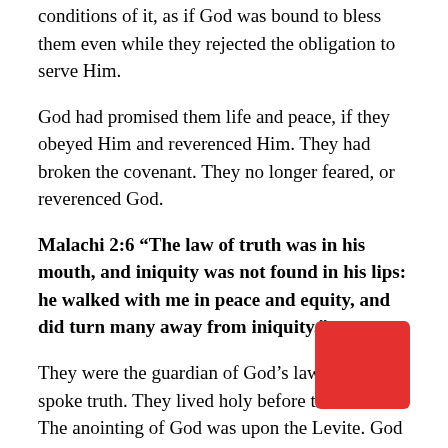conditions of it, as if God was bound to bless them even while they rejected the obligation to serve Him.
God had promised them life and peace, if they obeyed Him and reverenced Him. They had broken the covenant. They no longer feared, or reverenced God.
Malachi 2:6 “The law of truth was in his mouth, and iniquity was not found in his lips: he walked with me in peace and equity, and did turn many away from iniquity.”
They were the guardian of God’s law. They spoke truth. They lived holy before their Lord. The anointing of God was upon the Levite. God spoke to the people through the Urim and Thummem...